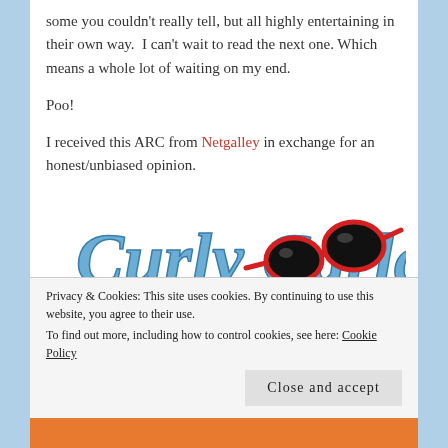some you couldn't really tell, but all highly entertaining in their own way.  I can't wait to read the next one.  Which means a whole lot of waiting on my end.
Poo!
I received this ARC from Netgalley in exchange for an honest/unbiased opinion.
[Figure (logo): Curly Carla blog logo with red sunglasses, blue cursive text on white background]
Privacy & Cookies: This site uses cookies. By continuing to use this website, you agree to their use. To find out more, including how to control cookies, see here: Cookie Policy
Close and accept